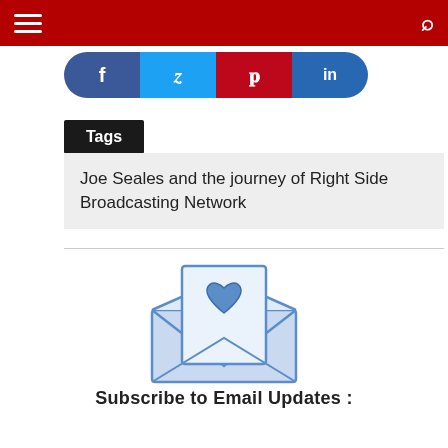Navigation bar with hamburger menu and search icon
[Figure (infographic): Social sharing buttons: Facebook (blue, f), Twitter (cyan, bird), Pinterest (red, p), LinkedIn (dark blue, in), arranged in a pill-shaped row]
Tags
Joe Seales and the journey of Right Side Broadcasting Network
[Figure (illustration): Envelope with a letter containing a heart, rendered in blue line art style]
Subscribe to Email Updates :